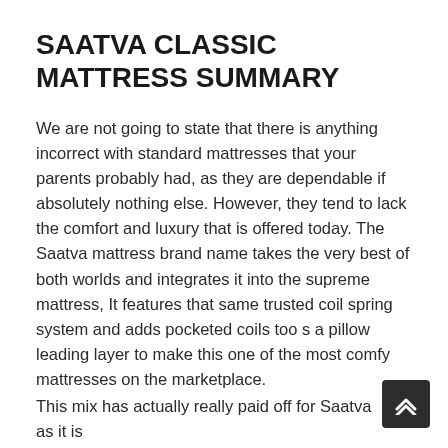SAATVA CLASSIC MATTRESS SUMMARY
We are not going to state that there is anything incorrect with standard mattresses that your parents probably had, as they are dependable if absolutely nothing else. However, they tend to lack the comfort and luxury that is offered today. The Saatva mattress brand name takes the very best of both worlds and integrates it into the supreme mattress, It features that same trusted coil spring system and adds pocketed coils too s a pillow leading layer to make this one of the most comfy mattresses on the marketplace.
This mix has actually really paid off for Saatva as it is